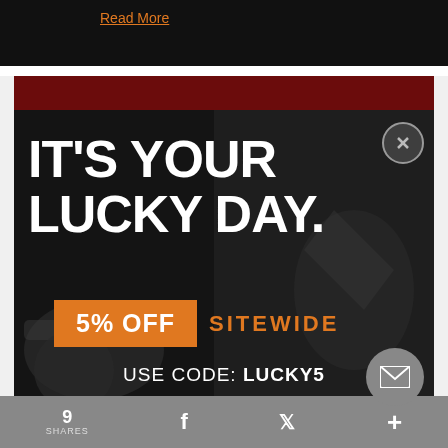[Figure (screenshot): Top black banner with orange 'Read More' link]
[Figure (infographic): Promotional modal overlay on dark background with tools/equipment. Large white bold text 'IT'S YOUR LUCKY DAY.' with orange '5% OFF SITEWIDE' badge and 'USE CODE: LUCKY5' below. Close button top right, mail icon bottom right.]
9 SHARES  [Facebook icon]  [Twitter icon]  [Plus icon]